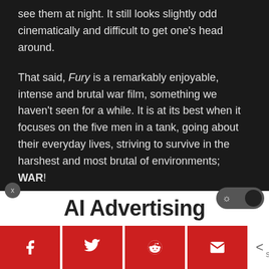see them at night. It still looks slightly odd cinematically and difficult to get one's head around.
That said, Fury is a remarkably enjoyable, intense and brutal war film, something we haven't seen for a while. It is at its best when it focuses on the five men in a tank, going about their everyday lives, striving to survive in the harshest and most brutal of environments; WAR!
[Figure (screenshot): AI Advertising overlay bar partially visible at bottom of dark article page]
Share buttons: Facebook, Twitter, Reddit, Email | < 0 SHARES